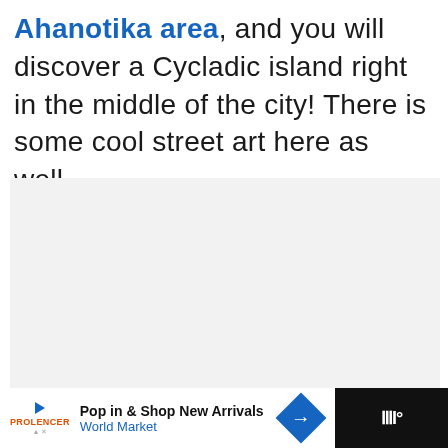Ahanotika area, and you will discover a Cycladic island right in the middle of the city! There is some cool street art here as well.
[Figure (photo): Image placeholder area with navigation dots, showing a photo carousel of Ahanotika area. Three dots visible at bottom indicating multiple images.]
WHAT'S NEXT → Plan a trip to Greece –...
Pop in & Shop New Arrivals World Market